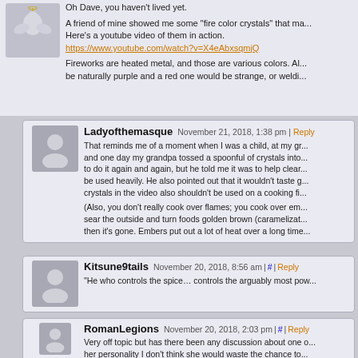Oh Dave, you haven't lived yet.

A friend of mine showed me some "fire color crystals" that ma... Here's a youtube video of them in action.
https://www.youtube.com/watch?v=X4eAbxsqmjQ

Fireworks are heated metal, and those are various colors. A... be naturally purple and a red one would be strange, or weldi...
Ladyofthemasque — November 21, 2018, 1:38 pm | Reply

That reminds me of a moment when I was a child, at my gr... and one day my grandpa tossed a spoonful of crystals into... to do it again and again, but he told me it was to help clear... be used heavily. He also pointed out that it wouldn't taste g... crystals in the video also shouldn't be used on a cooking fi...

(Also, you don't really cook over flames; you cook over em... sear the outside and turn foods golden brown (caramelizat... then it's gone. Embers put out a lot of heat over a long time...
Kitsune9tails — November 20, 2018, 8:56 am | # | Reply

"He who controls the spice… controls the arguably most pow...
RomanLegions — November 20, 2018, 2:03 pm | # | Reply

Very off topic but has there been any discussion about one o... her personality I don't think she would waste the chance to...